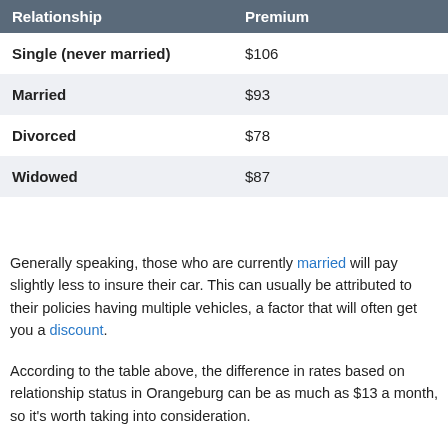| Relationship | Premium |
| --- | --- |
| Single (never married) | $106 |
| Married | $93 |
| Divorced | $78 |
| Widowed | $87 |
Generally speaking, those who are currently married will pay slightly less to insure their car. This can usually be attributed to their policies having multiple vehicles, a factor that will often get you a discount.
According to the table above, the difference in rates based on relationship status in Orangeburg can be as much as $13 a month, so it's worth taking into consideration.